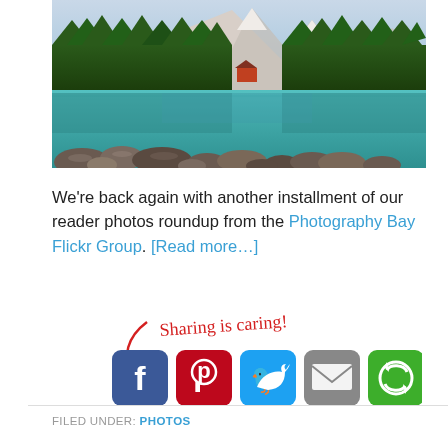[Figure (photo): Scenic mountain lake with turquoise water, large rocks in the foreground, dense pine forest, snow-capped mountains reflected in the still water, and a small red cabin on the shore.]
We’re back again with another installment of our reader photos roundup from the Photography Bay Flickr Group. [Read more…]
[Figure (infographic): Sharing is caring! text in handwritten red font with a curving red arrow pointing to social share buttons: Facebook, Pinterest, Twitter, Email, and More Options.]
FILED UNDER: PHOTOS